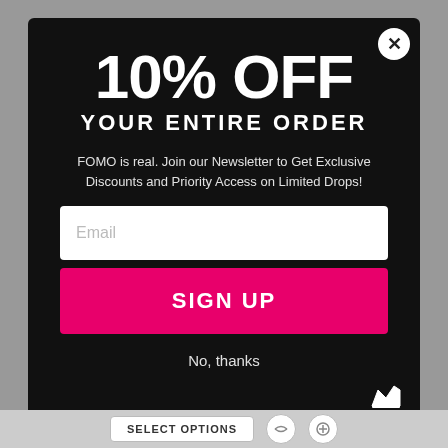[Figure (screenshot): E-commerce popup/modal with black background, showing a 10% off discount offer for newsletter signup. Contains large white bold text '10% OFF YOUR ENTIRE ORDER', descriptive text about FOMO and newsletter, an email input field, a pink SIGN UP button, and a 'No, thanks' link. A close (X) button is in the top right corner. A crown icon is at bottom right.]
10% OFF YOUR ENTIRE ORDER
FOMO is real. Join our Newsletter to Get Exclusive Discounts and Priority Access on Limited Drops!
Email
SIGN UP
No, thanks